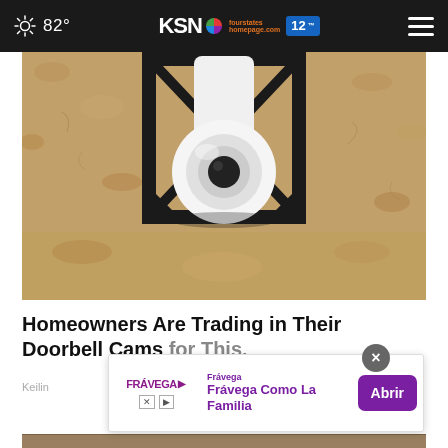82° KSN NBC fourstates homepage .com 12 FOX
[Figure (photo): Close-up photo of a dome security camera mounted in a black metal bracket on a textured beige/tan stucco wall]
Homeowners Are Trading in Their Doorbell Cams for This.
Keilin
[Figure (infographic): Advertisement overlay: Frávega Como La Familia with Abrir button]